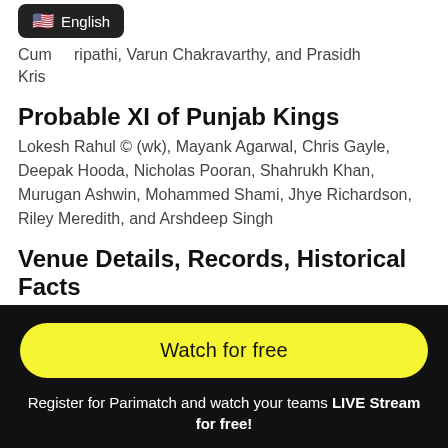Cum... ripathi, Varun Chakravarthy, and Prasidh Kris...
Probable XI of Punjab Kings
Lokesh Rahul © (wk), Mayank Agarwal, Chris Gayle, Deepak Hooda, Nicholas Pooran, Shahrukh Khan, Murugan Ashwin, Mohammed Shami, Jhye Richardson, Riley Meredith, and Arshdeep Singh
Venue Details, Records, Historical Facts
This match is being expected to be high scoring as it will be played on a batting track of Wankhede Stadium, Mumbai. The team winning the toss will field first.
Watch for free
Register for Parimatch and watch your teams LIVE Stream for free!